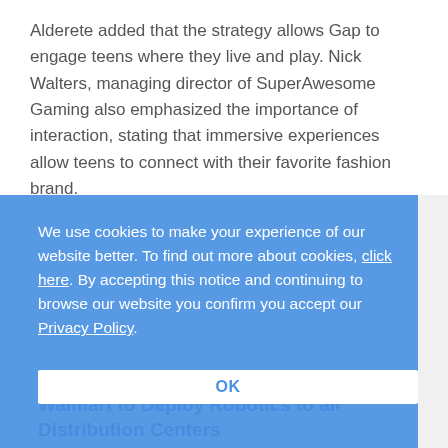Alderete added that the strategy allows Gap to engage teens where they live and play. Nick Walters, managing director of SuperAwesome Gaming also emphasized the importance of interaction, stating that immersive experiences allow teens to connect with their favorite fashion brand.
We use cookies to make your experience of our website better. To find out more about cookies, click here. By accepting this notice and continuing to browse our website you confirm you accept our Privacy Policy.
OK
05/23/2022
Walmart to Deploy Robotics to all Distribution Centers